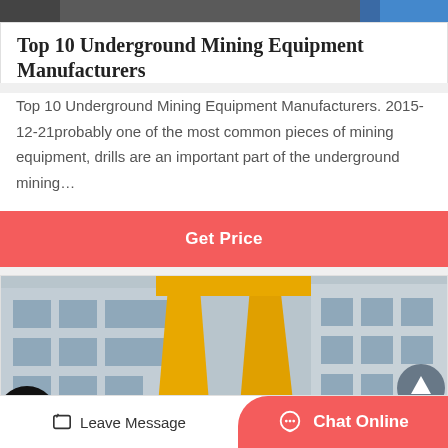[Figure (photo): Partial top strip of a mining equipment photo]
Top 10 Underground Mining Equipment Manufacturers
Top 10 Underground Mining Equipment Manufacturers. 2015-12-21probably one of the most common pieces of mining equipment, drills are an important part of the underground mining…
Get Price
[Figure (photo): Factory building with yellow crane structure and industrial equipment]
Leave Message  Chat Online